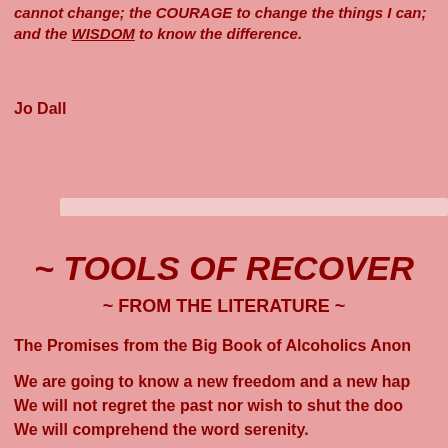cannot change; the COURAGE to change the things I can; and the WISDOM to know the difference.
Jo Dall
[Figure (other): Horizontal decorative divider bar with light/white appearance]
~ TOOLS OF RECOVERY
~ FROM THE LITERATURE ~
The Promises from the Big Book of Alcoholics Anonymous
We are going to know a new freedom and a new happiness. We will not regret the past nor wish to shut the door on it. We will comprehend the word serenity.